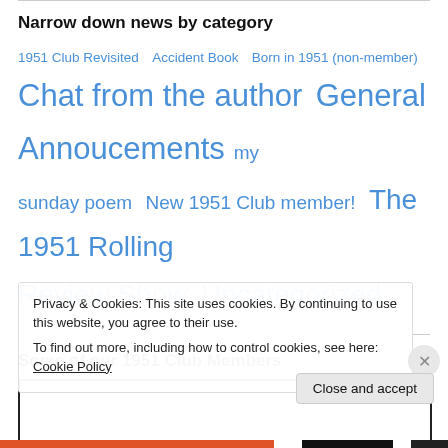Narrow down news by category
1951 Club Revisited   Accident Book   Born in 1951 (non-member)   Chat from the author   General Annoucements   my sunday poem   New 1951 Club member!   The 1951 Rolling Review Show   Uncategorized
Some of our 1951 Club Members
Privacy & Cookies: This site uses cookies. By continuing to use this website, you agree to their use.
To find out more, including how to control cookies, see here: Cookie Policy
Close and accept